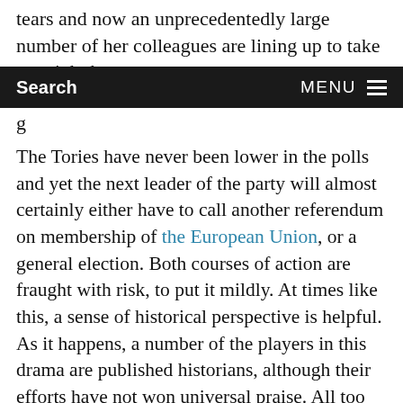tears and now an unprecedentedly large number of her colleagues are lining up to take on a job that
Search   MENU
g
The Tories have never been lower in the polls and yet the next leader of the party will almost certainly either have to call another referendum on membership of the European Union, or a general election. Both courses of action are fraught with risk, to put it mildly. At times like this, a sense of historical perspective is helpful. As it happens, a number of the players in this drama are published historians, although their efforts have not won universal praise. All too easily, the noise of a political axe grinding away can overwhelm the judicious voice of the historian. We look at five here (not an exhaustive list): the favourite among the leadership candidates, Boris Johnson and one other